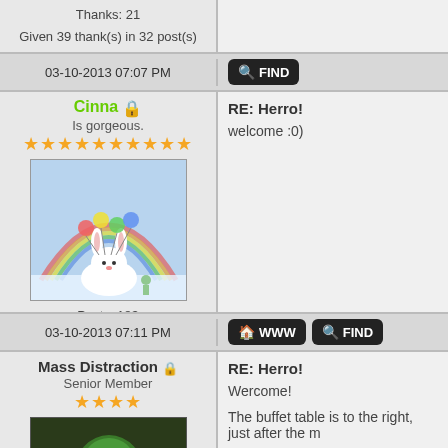Thanks: 21
Given 39 thank(s) in 32 post(s)
03-10-2013 07:07 PM | FIND
Cinna
Is gorgeous.
Posts: 183
Joined: Jun 2012
Reputation: 32
Thanks: 80
Given 92 thank(s) in 69 post(s)
RE: Herro!
welcome :0)
03-10-2013 07:11 PM | WWW | FIND
Mass Distraction
Senior Member
Posts: 582
RE: Herro!
Wercome!

The buffet table is to the right, just after the m